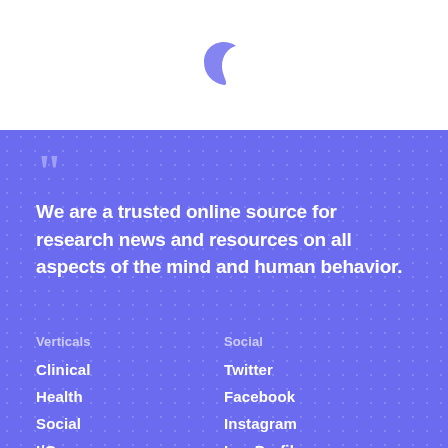[Figure (logo): Small purple crescent/partial circle logo centered at top of page on white background]
We are a trusted online source for research news and resources on all aspects of the mind and human behavior.
Verticals
Clinical
Health
Social
I/O
Social
Twitter
Facebook
Instagram
Inc. Profile